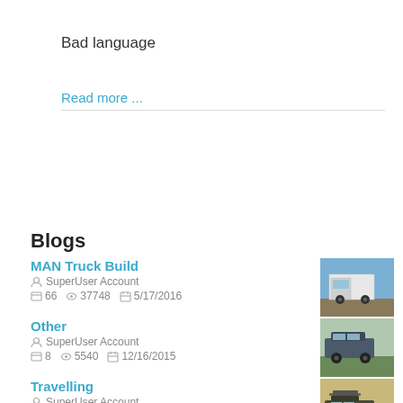Bad language
Read more ...
Blogs
MAN Truck Build
SuperUser Account
66  37748  5/17/2016
[Figure (photo): MAN truck photo - white truck cab]
Other
SuperUser Account
8  5540  12/16/2015
[Figure (photo): Dark SUV / 4x4 vehicle in field]
Travelling
SuperUser Account
6  1318  5/21/2016
[Figure (photo): 4x4 vehicle with roof rack in desert/sandy terrain]